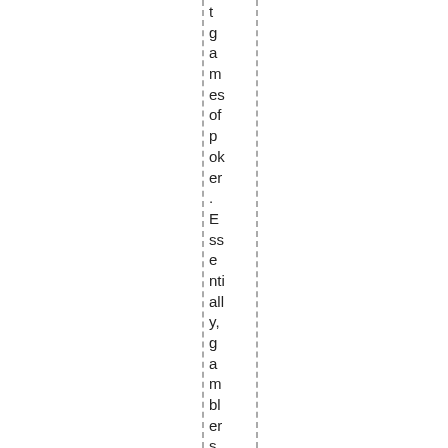t games of poker. Essentially, gamblers shall actually cho